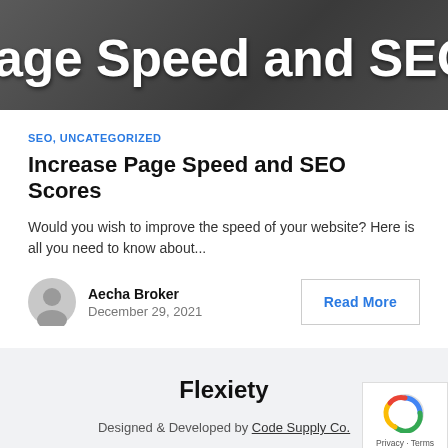[Figure (photo): Dark background banner image with overlaid white bold text reading 'age Speed and SEO Score' (partially cropped)]
SEO, UNCATEGORIZED
Increase Page Speed and SEO Scores
Would you wish to improve the speed of your website? Here is all you need to know about...
Aecha Broker
December 29, 2021
Read More
Flexiety
Designed & Developed by Code Supply Co.